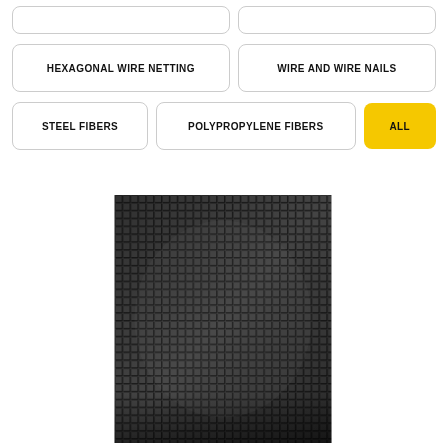[Figure (screenshot): Two partially visible placeholder button boxes at top row]
HEXAGONAL WIRE NETTING
WIRE AND WIRE NAILS
STEEL FIBERS
POLYPROPYLENE FIBERS
ALL
[Figure (photo): Close-up photograph of wire mesh / wire netting showing a grid pattern of small square openings, black and white image]